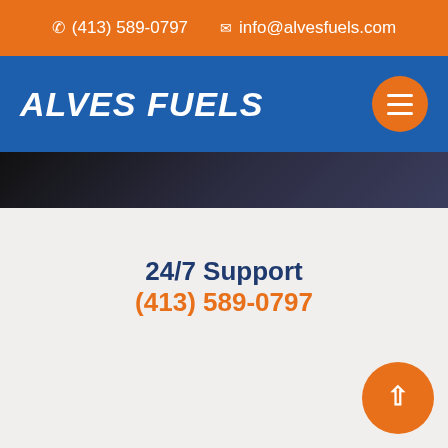✆ (413) 589-0797   ✉ info@alvesfuels.com
ALVES FUELS
[Figure (photo): Dark hero background image showing what appears to be a person in dark clothing, used as a website hero banner strip.]
24/7 Support
(413) 589-0797
Our service commitment is available to you 24/7 and includes a live service expert to assist you when you need it. This means whenever you call, you will have